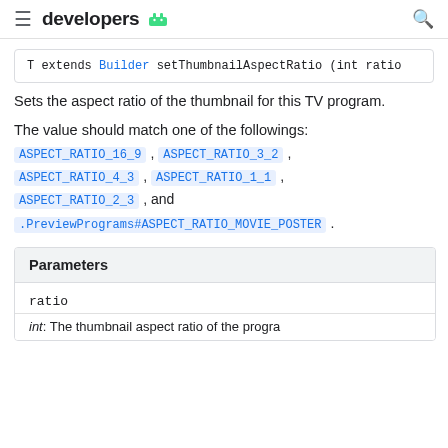developers
T extends Builder setThumbnailAspectRatio (int ratio
Sets the aspect ratio of the thumbnail for this TV program.
The value should match one of the followings: ASPECT_RATIO_16_9 , ASPECT_RATIO_3_2 , ASPECT_RATIO_4_3 , ASPECT_RATIO_1_1 , ASPECT_RATIO_2_3 , and .PreviewPrograms#ASPECT_RATIO_MOVIE_POSTER .
| Parameters |
| --- |
| ratio |
| int: The thumbnail aspect ratio of the program |
int: The thumbnail aspect ratio of the program